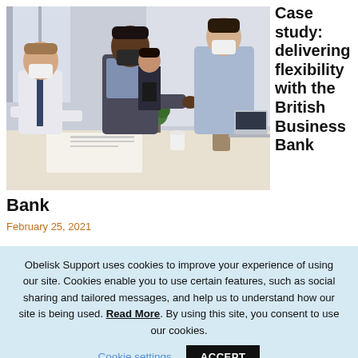[Figure (photo): Three people wearing face masks leaning over a table in an office setting, reviewing documents. A fourth person stands in the background.]
Case study: delivering flexibility with the British Business Bank
February 25, 2021
Obelisk Support uses cookies to improve your experience of using our site. Cookies enable you to use certain features, such as social sharing and tailored messages, and help us to understand how our site is being used. Read More. By using this site, you consent to use our cookies.  Cookie settings  ACCEPT